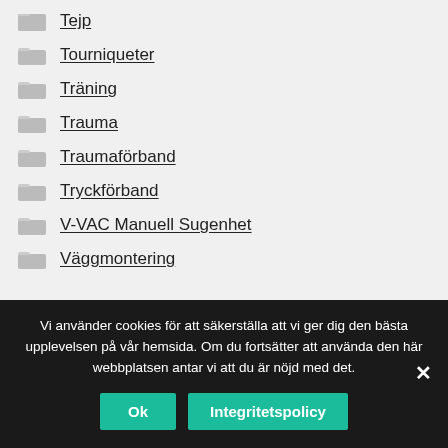Tejp
Tourniqueter
Träning
Trauma
Traumaförband
Tryckförband
V-VAC Manuell Sugenhet
Väggmontering
Vi använder cookies för att säkerställa att vi ger dig den bästa upplevelsen på vår hemsida. Om du fortsätter att använda den här webbplatsen antar vi att du är nöjd med det.